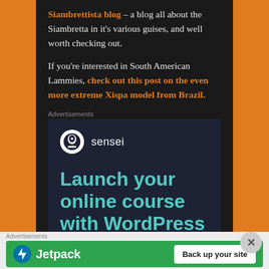Siambrettista blog – a blog all about the Siambretta in it's various guises, and well worth checking out.
If you're interested in South American Lammies, check out this post on the even more extreme Xispa model from Brazil.
Advertisements
[Figure (screenshot): Sensei advertisement: Launch your online course with WordPress. Learn More button.]
Advertisements
[Figure (screenshot): Jetpack advertisement: Back up your site button.]